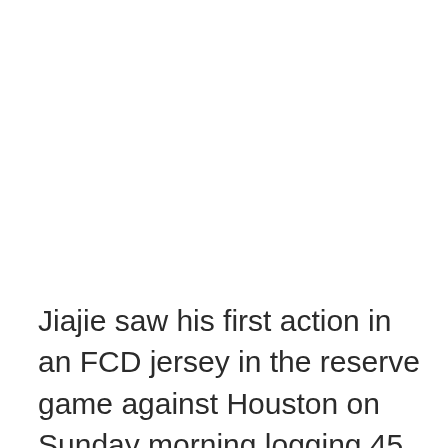Jiajie saw his first action in an FCD jersey in the reserve game against Houston on Sunday morning logging 45 minutes of action. Albert Chia notes in the article that Zhuang was probably spotted at the Ajax Aegon Future Cup that FC Dallas attended last season. It's incredibly interesting to me that Dallas is bringing players like this on board, and I can't wait to see him in action.
Back to MLS news and David Ferreira's return is looking less likely as time goes on.